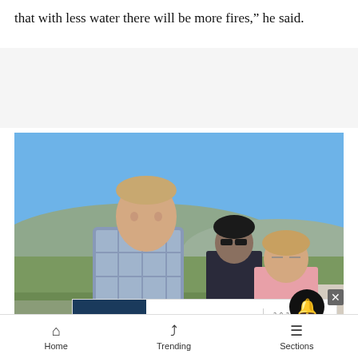that with less water there will be more fires,” he said.
[Figure (photo): Outdoor photo of a man in a plaid shirt standing in a field with mountains in the background, accompanied by two other people behind him under a clear blue sky.]
[Figure (infographic): Advertisement banner: 'Water Is Life' thumbnail on the left; center reads 'VOTE FOR HEADWATERS RIVER JOURNEY' with a water drop icon; right side shows 'best of Grand' award logo.]
Home | Trending | Sections